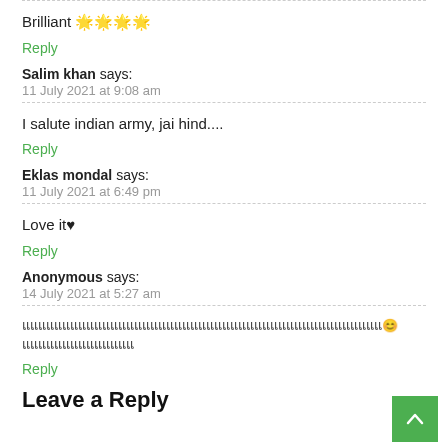Brilliant 🌟🌟🌟🌟
Reply
Salim khan says:
11 July 2021 at 9:08 am
I salute indian army, jai hind....
Reply
Eklas mondal says:
11 July 2021 at 6:49 pm
Love it♥
Reply
Anonymous says:
14 July 2021 at 5:27 am
แแแแแแแแแแแแแแแแแแแแแแแแแแแแแแแแแแแแแแแแแแแแแ😊แแแแแแแแแแแแแแ
Reply
Leave a Reply